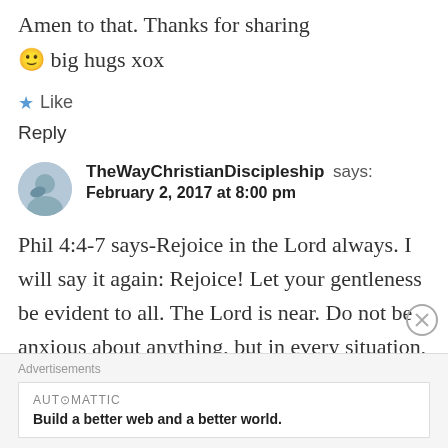Amen to that. Thanks for sharing
🙂 big hugs xox
★ Like
Reply
TheWayChristianDiscipleship says: February 2, 2017 at 8:00 pm
Phil 4:4-7 says-Rejoice in the Lord always. I will say it again: Rejoice! Let your gentleness be evident to all. The Lord is near. Do not be anxious about anything, but in every situation, by prayer and
Advertisements
[Figure (other): Automattic advertisement banner: 'Build a better web and a better world.']